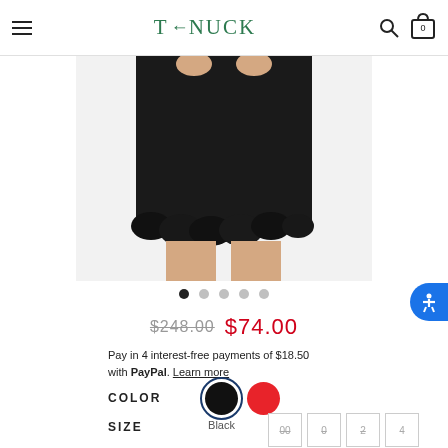TYNUCK
[Figure (photo): A black dress with ruffled hem detail shown from waist down on a model]
$248.00  $74.00
Pay in 4 interest-free payments of $18.50 with PayPal. Learn more
COLOR  Black
SIZE  00  0  2  4